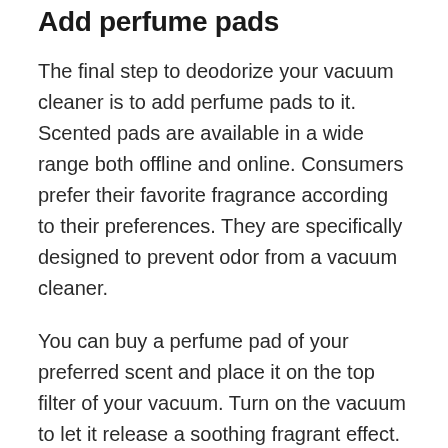Add perfume pads
The final step to deodorize your vacuum cleaner is to add perfume pads to it. Scented pads are available in a wide range both offline and online. Consumers prefer their favorite fragrance according to their preferences. They are specifically designed to prevent odor from a vacuum cleaner.
You can buy a perfume pad of your preferred scent and place it on the top filter of your vacuum. Turn on the vacuum to let it release a soothing fragrant effect.
How to get rid of the bad